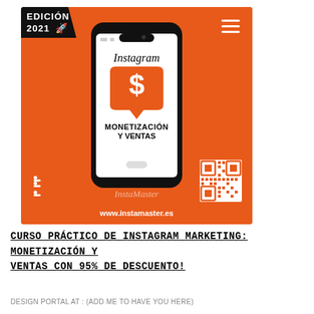[Figure (illustration): Orange background promotional card for Instagram marketing course with smartphone showing 'Instagram Monetización y Ventas', edition 2021 badge, QR code, and website www.instamaster.es]
CURSO PRÁCTICO DE INSTAGRAM MARKETING: MONETIZACIÓN Y VENTAS CON 95% DE DESCUENTO!
DESIGN PORTAL AT : (ADD ME TO HAVE YOU HERE)